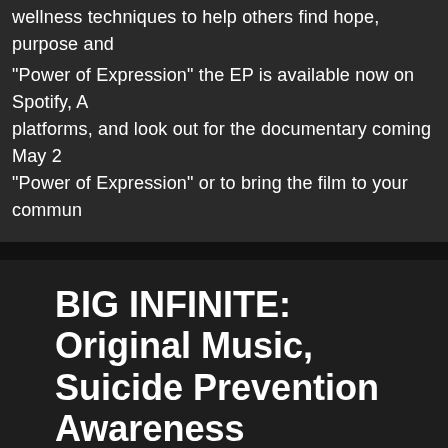wellness techniques to help others find hope, purpose and
"Power of Expression" the EP is available now on Spotify, A platforms, and look out for the documentary coming May 2 "Power of Expression" or to bring the film to your commun
BIG INFINITE: Original Music, Suicide Prevention Awareness
March 19, 2019